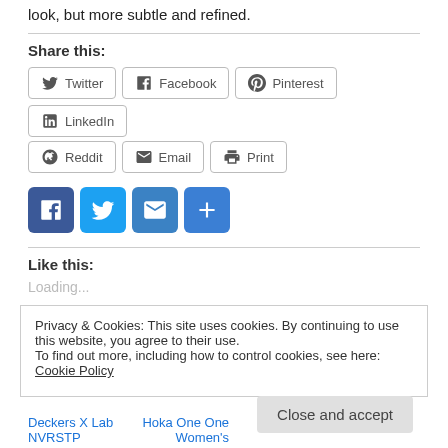look, but more subtle and refined.
Share this:
[Figure (other): Social share buttons: Twitter, Facebook, Pinterest, LinkedIn, Reddit, Email, Print]
[Figure (other): Social icon buttons: Facebook (blue), Twitter (blue), Email (blue), Share/plus (blue)]
Like this:
Loading...
Privacy & Cookies: This site uses cookies. By continuing to use this website, you agree to their use.
To find out more, including how to control cookies, see here: Cookie Policy
Deckers X Lab NVRSTP
Hoka One One Women's